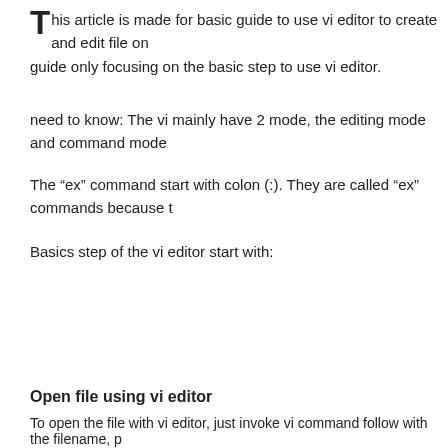This article is made for basic guide to use vi editor to create and edit file on guide only focusing on the basic step to use vi editor.
need to know: The vi mainly have 2 mode, the editing mode and command mode
The "ex" command start with colon (:). They are called "ex" commands because t
Basics step of the vi editor start with:
Open file using vi editor
To open the file with vi editor, just invoke vi command follow with the filename, p